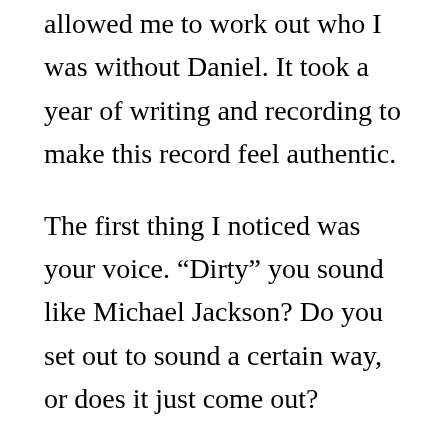allowed me to work out who I was without Daniel. It took a year of writing and recording to make this record feel authentic.
The first thing I noticed was your voice. “Dirty” you sound like Michael Jackson? Do you set out to sound a certain way, or does it just come out?
I never set out to do it. The great thing is that I grew up listening to soul records. Michael, Marvin Gaye, all those people really taught